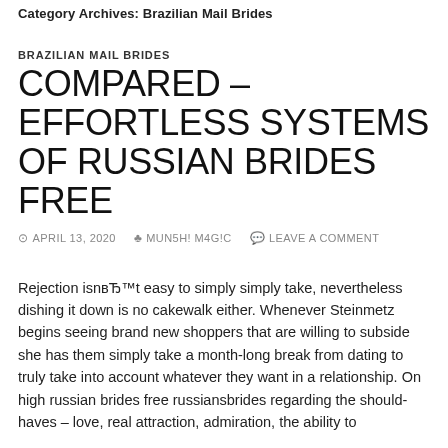Category Archives: Brazilian Mail Brides
BRAZILIAN MAIL BRIDES
COMPARED – EFFORTLESS SYSTEMS OF RUSSIAN BRIDES FREE
⊙ APRIL 13, 2020   ♣ MUN5H! M4G!C   💬 LEAVE A COMMENT
Rejection isnвЂ™t easy to simply simply take, nevertheless dishing it down is no cakewalk either. Whenever Steinmetz begins seeing brand new shoppers that are willing to subside she has them simply take a month-long break from dating to truly take into account whatever they want in a relationship. On high russian brides free russiansbrides regarding the should-haves – love, real attraction, admiration, the ability to